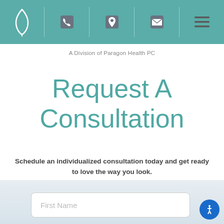[Figure (other): Navigation bar with teal background containing a white flame/leaf logo, phone icon, map pin icon, envelope icon, and hamburger menu icon separated by vertical dividers]
A Division of Paragon Health PC
Request A Consultation
Schedule an individualized consultation today and get ready to love the way you look.
First Name